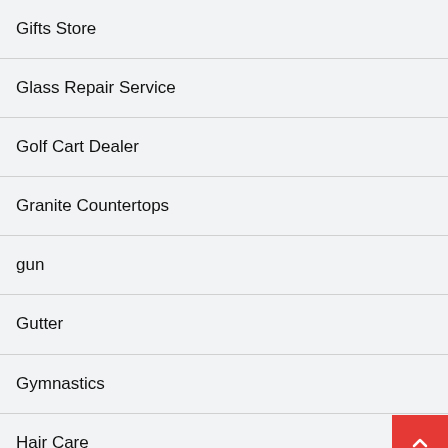Gifts Store
Glass Repair Service
Golf Cart Dealer
Granite Countertops
gun
Gutter
Gymnastics
Hair Care